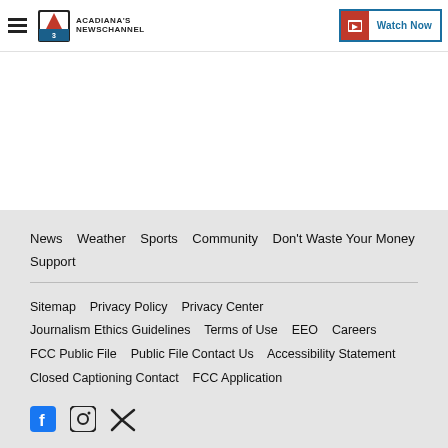Acadiana's Newschannel | Watch Now
News   Weather   Sports   Community   Don't Waste Your Money   Support

Sitemap   Privacy Policy   Privacy Center
Journalism Ethics Guidelines   Terms of Use   EEO   Careers
FCC Public File   Public File Contact Us   Accessibility Statement
Closed Captioning Contact   FCC Application